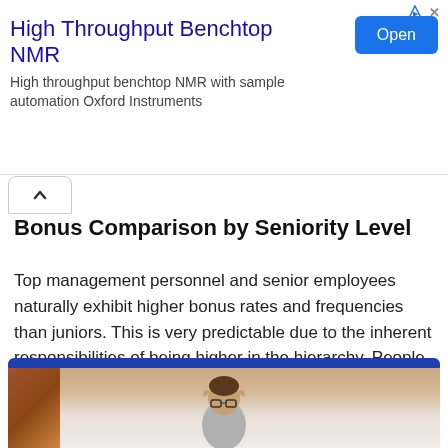[Figure (other): Advertisement banner: High Throughput Benchtop NMR with Open button]
Bonus Comparison by Seniority Level
Top management personnel and senior employees naturally exhibit higher bonus rates and frequencies than juniors. This is very predictable due to the inherent responsibilities of being higher in the hierarchy. People in top positions can easily get double or triple bonus rates than employees down the pyramid.
[Figure (photo): Photo of a man with glasses holding his head with both hands, in front of a brick wall background, framed in a blue border]